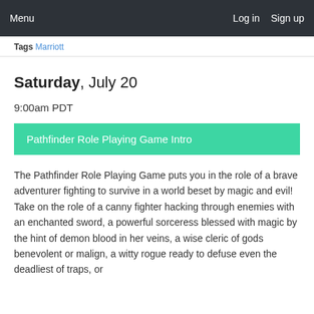Menu   Log in   Sign up
Tags Marriott
Saturday, July 20
9:00am PDT
Pathfinder Role Playing Game Intro
The Pathfinder Role Playing Game puts you in the role of a brave adventurer fighting to survive in a world beset by magic and evil! Take on the role of a canny fighter hacking through enemies with an enchanted sword, a powerful sorceress blessed with magic by the hint of demon blood in her veins, a wise cleric of gods benevolent or malign, a witty rogue ready to defuse even the deadliest of traps, or